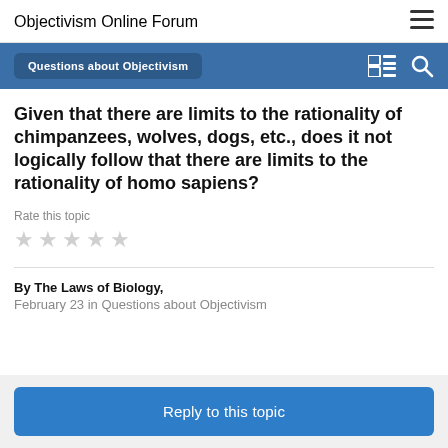Objectivism Online Forum
Given that there are limits to the rationality of chimpanzees, wolves, dogs, etc., does it not logically follow that there are limits to the rationality of homo sapiens?
Rate this topic
By The Laws of Biology, February 23 in Questions about Objectivism
Reply to this topic